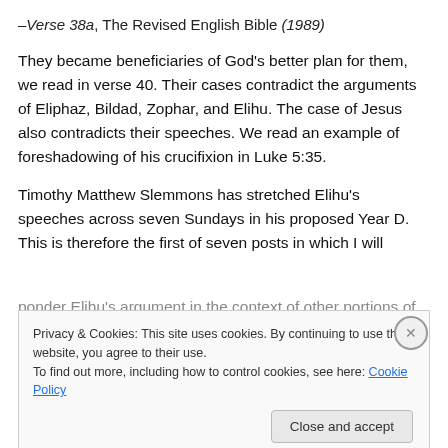–Verse 38a, The Revised English Bible (1989)
They became beneficiaries of God's better plan for them, we read in verse 40.  Their cases contradict the arguments of Eliphaz, Bildad, Zophar, and Elihu.  The case of Jesus also contradicts their speeches.  We read an example of foreshadowing of his crucifixion in Luke 5:35.
Timothy Matthew Slemmons has stretched Elihu's speeches across seven Sundays in his proposed Year D.  This is therefore the first of seven posts in which I will ponder Elihu's argument in the context of other portions of
Privacy & Cookies: This site uses cookies. By continuing to use this website, you agree to their use.
To find out more, including how to control cookies, see here: Cookie Policy
Close and accept